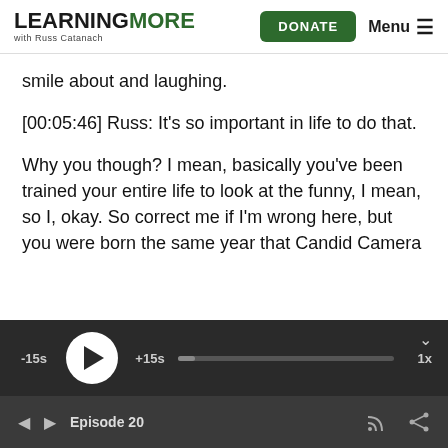LEARNING MORE with Russ Catanach — DONATE — Menu
smile about and laughing.
[00:05:46] Russ: It's so important in life to do that.
Why you though? I mean, basically you've been trained your entire life to look at the funny, I mean, so I, okay. So correct me if I'm wrong here, but you were born the same year that Candid Camera